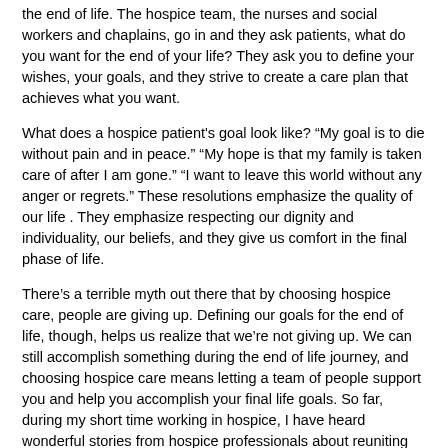the end of life. The hospice team, the nurses and social workers and chaplains, go in and they ask patients, what do you want for the end of your life? They ask you to define your wishes, your goals, and they strive to create a care plan that achieves what you want.
What does a hospice patient's goal look like? “My goal is to die without pain and in peace.” “My hope is that my family is taken care of after I am gone.” “I want to leave this world without any anger or regrets.” These resolutions emphasize the quality of our life . They emphasize respecting our dignity and individuality, our beliefs, and they give us comfort in the final phase of life.
There’s a terrible myth out there that by choosing hospice care, people are giving up. Defining our goals for the end of life, though, helps us realize that we’re not giving up. We can still accomplish something during the end of life journey, and choosing hospice care means letting a team of people support you and help you accomplish your final life goals. So far, during my short time working in hospice, I have heard wonderful stories from hospice professionals about reuniting families, providing much-needed relief and support to primary caregivers, and supporting hospice patients and loved ones through the end of life journey into a peaceful death. That is our goal—to provide you and your loved ones with superior hospice care.